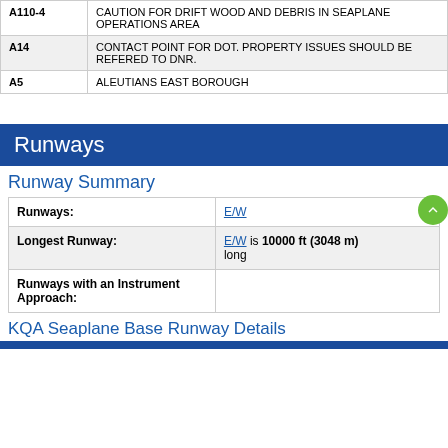| Code | Description |
| --- | --- |
| A110-4 | CAUTION FOR DRIFT WOOD AND DEBRIS IN SEAPLANE OPERATIONS AREA |
| A14 | CONTACT POINT FOR DOT. PROPERTY ISSUES SHOULD BE REFERED TO DNR. |
| A5 | ALEUTIANS EAST BOROUGH |
Runways
Runway Summary
| Label | Value |
| --- | --- |
| Runways: | E/W |
| Longest Runway: | E/W is 10000 ft (3048 m) long |
| Runways with an Instrument Approach: |  |
KQA Seaplane Base Runway Details